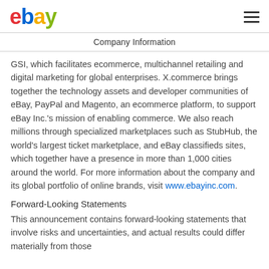ebay (logo) | hamburger menu
Company Information
GSI, which facilitates ecommerce, multichannel retailing and digital marketing for global enterprises. X.commerce brings together the technology assets and developer communities of eBay, PayPal and Magento, an ecommerce platform, to support eBay Inc.'s mission of enabling commerce. We also reach millions through specialized marketplaces such as StubHub, the world's largest ticket marketplace, and eBay classifieds sites, which together have a presence in more than 1,000 cities around the world. For more information about the company and its global portfolio of online brands, visit www.ebayinc.com.
Forward-Looking Statements
This announcement contains forward-looking statements that involve risks and uncertainties, and actual results could differ materially from those